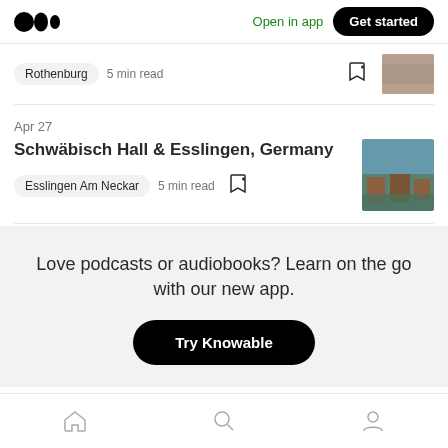Open in app | Get started
Rothenburg  5 min read
Apr 27
Schwäbisch Hall & Esslingen, Germany
Esslingen Am Neckar  5 min read
Love podcasts or audiobooks? Learn on the go with our new app.
Try Knowable
Home | Search | Profile